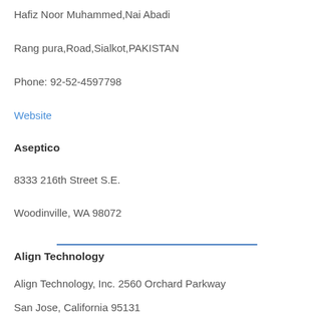Hafiz Noor Muhammed,Nai Abadi
Rang pura,Road,Sialkot,PAKISTAN
Phone: 92-52-4597798
Website
Aseptico
8333 216th Street S.E.
Woodinville, WA 98072
Align Technology
Align Technology, Inc. 2560 Orchard Parkway
San Jose, California 95131